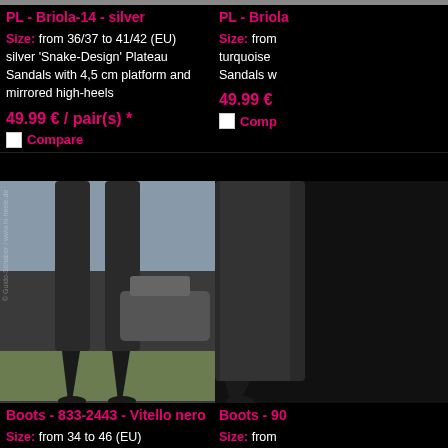[Figure (photo): Top portion of product image (sandal) for PL - Briola-14 - silver, partially visible]
PL - Briola-14 - silver
Size: from 36/37 to 41/42 (EU)
silver 'Snake-Design' Plateau Sandals with 4,5 cm platform and mirrored high-heels
49.99 € / pair(s) *
Compare
[Figure (photo): Top portion of right product image for PL - Briola, partially visible]
PL - Briola
Size: from
turquoise Sandals w
49.99 €
Comp
[Figure (photo): Black leather thigh-high extreme boots with stiletto heels, model wearing them outdoors near a car. Boots - 833-2443 - Vitello nero]
Boots - 833-2443 - Vitello nero
Size: from 34 to 46 (EU)
black "high class" Leather Extreme-Boots - overknee - with lacquered Empire-Heels
[Figure (photo): Right product image partially visible, black boots. Boots - 90...]
Boots - 90
Size: from
black gen with adjus